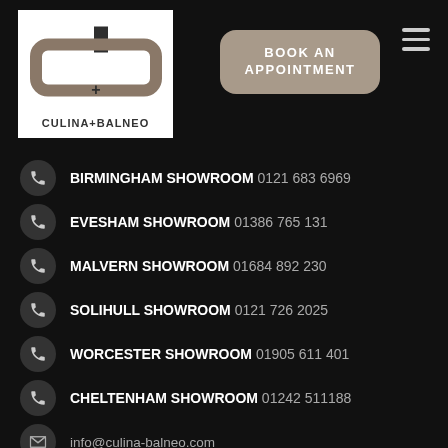[Figure (logo): Culina + Balneo logo with stylized 'cb' monogram in brown and dark grey on white background, text reads CULINA+BALNEO]
BOOK AN APPOINTMENT
BIRMINGHAM SHOWROOM 0121 683 6969
EVESHAM SHOWROOM 01386 765 131
MALVERN SHOWROOM 01684 892 230
SOLIHULL SHOWROOM 0121 726 2025
WORCESTER SHOWROOM 01905 611 401
CHELTENHAM SHOWROOM 01242 511188
info@culina-balneo.com